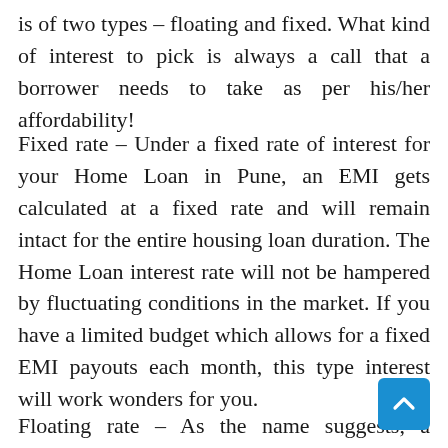is of two types – floating and fixed. What kind of interest to pick is always a call that a borrower needs to take as per his/her affordability!
Fixed rate – Under a fixed rate of interest for your Home Loan in Pune, an EMI gets calculated at a fixed rate and will remain intact for the entire housing loan duration. The Home Loan interest rate will not be hampered by fluctuating conditions in the market. If you have a limited budget which allows for a fixed EMI payouts each month, this type interest will work wonders for you.
Floating rate – As the name suggests, a floating